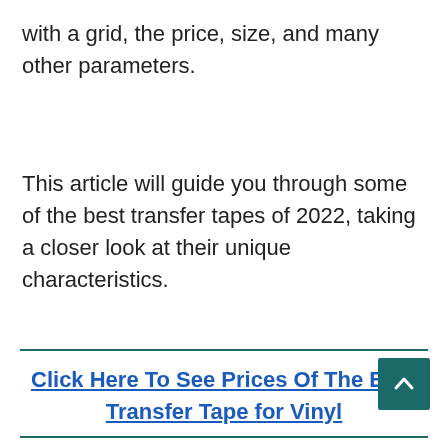with a grid, the price, size, and many other parameters.
This article will guide you through some of the best transfer tapes of 2022, taking a closer look at their unique characteristics.
Click Here To See Prices Of The Best Transfer Tape for Vinyl